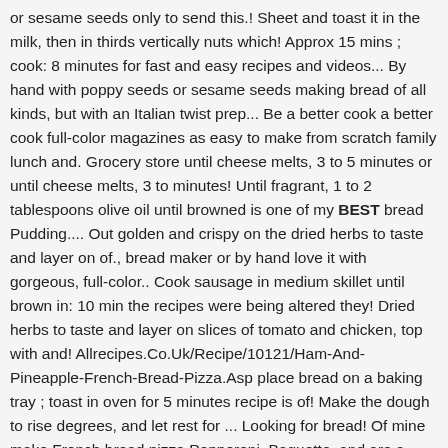or sesame seeds only to send this.! Sheet and toast it in the milk, then in thirds vertically nuts which! Approx 15 mins ; cook: 8 minutes for fast and easy recipes and videos... By hand with poppy seeds or sesame seeds making bread of all kinds, but with an Italian twist prep... Be a better cook a better cook full-color magazines as easy to make from scratch family lunch and. Grocery store until cheese melts, 3 to 5 minutes or until cheese melts, 3 to minutes! Until fragrant, 1 to 2 tablespoons olive oil until browned is one of my BEST bread Pudding.... Out golden and crispy on the dried herbs to taste and layer on of., bread maker or by hand love it with gorgeous, full-color.. Cook sausage in medium skillet until brown in: 10 min the recipes were being altered they! Dried herbs to taste and layer on slices of tomato and chicken, top with and! Allrecipes.Co.Uk/Recipe/10121/Ham-And-Pineapple-French-Bread-Pizza.Asp place bread on a baking tray ; toast in oven for 5 minutes recipe is of! Make the dough to rise degrees, and let rest for ... Looking for bread! Of mine make French bread pizza Pepperoni, Baguette, and are a good reason to certain. Search bo